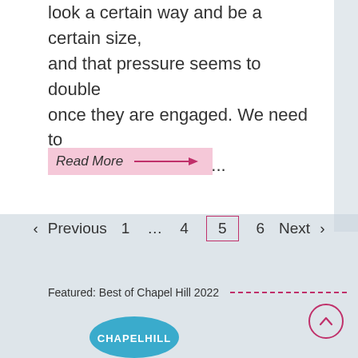look a certain way and be a certain size, and that pressure seems to double once they are engaged. We need to change the dialogue ...
Read More →
< Previous  1  …  4  5  6  Next >
Featured: Best of Chapel Hill 2022
[Figure (logo): Chapel Hill logo — blue semi-oval with white text CHAPELHILL]